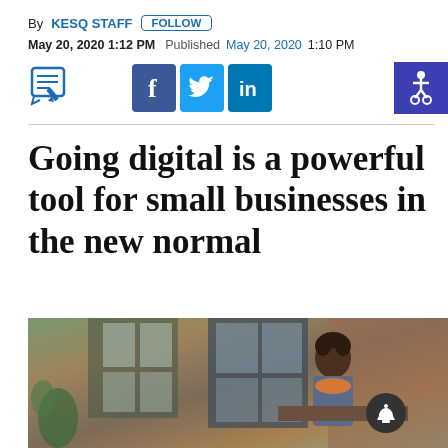By KESQ STAFF  FOLLOW  May 20, 2020 1:12 PM  Published May 20, 2020  1:10 PM
Going digital is a powerful tool for small businesses in the new normal
[Figure (photo): Woman working at a computer inside a small shop with brick walls, plants, and large windows]